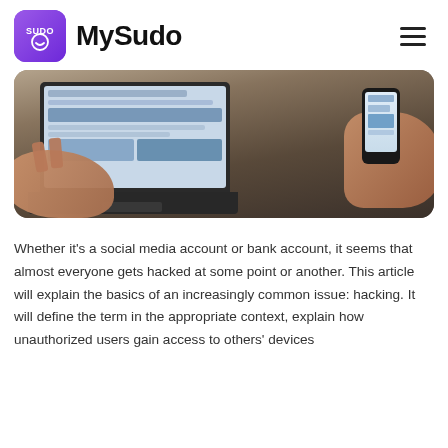MySudo
[Figure (photo): Person using a laptop and holding a smartphone, viewed from above on a wooden desk surface.]
Whether it's a social media account or bank account, it seems that almost everyone gets hacked at some point or another. This article will explain the basics of an increasingly common issue: hacking. It will define the term in the appropriate context, explain how unauthorized users gain access to others' devices